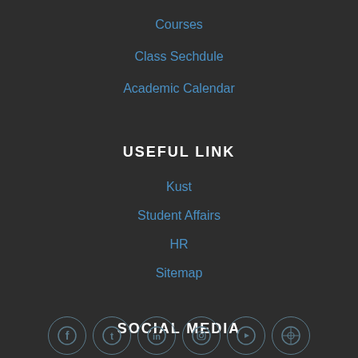Courses
Class Sechdule
Academic Calendar
USEFUL LINK
Kust
Student Affairs
HR
Sitemap
SOCIAL MEDIA
[Figure (illustration): Row of six circular social media icons with dark outlines: Facebook, Twitter, LinkedIn, Instagram, YouTube, and another icon]